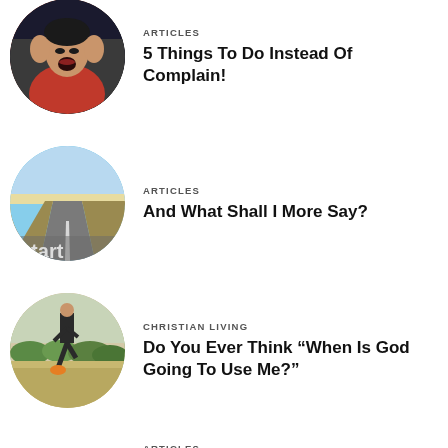[Figure (photo): Circular photo of a screaming person holding their head]
ARTICLES
5 Things To Do Instead Of Complain!
[Figure (photo): Circular photo of a road stretching into the distance with 'start' text on ground]
ARTICLES
And What Shall I More Say?
[Figure (photo): Circular photo of a runner lifting leg on a road with trees in background]
CHRISTIAN LIVING
Do You Ever Think “When Is God Going To Use Me?”
ARTICLES